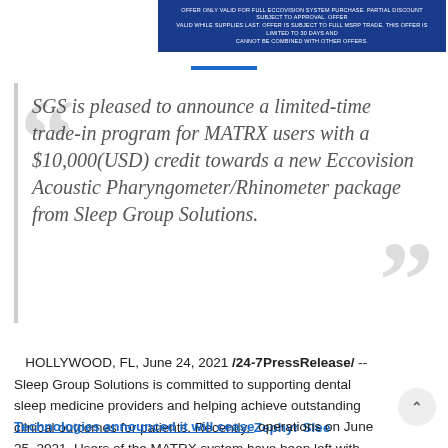[Figure (other): Blue banner image with small white disclaimer text about offer terms for full Eccovision system purchase]
SGS is pleased to announce a limited-time trade-in program for MATRX users with a $10,000(USD) credit towards a new Eccovision Acoustic Pharyngometer/Rhinometer package from Sleep Group Solutions.
HOLLYWOOD, FL, June 24, 2021 /24-7PressRelease/ -- Sleep Group Solutions is committed to supporting dental sleep medicine providers and helping achieve outstanding clinical outcomes for patients. Recently, Zephyr Sleep Technologies announced it will cease operations on June 25, 2021. Users of the MATRX system have been left with